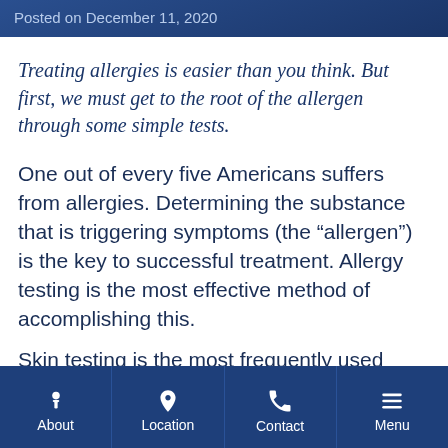Posted on December 11, 2020
Treating allergies is easier than you think. But first, we must get to the root of the allergen through some simple tests.
One out of every five Americans suffers from allergies. Determining the substance that is triggering symptoms (the “allergen”) is the key to successful treatment. Allergy testing is the most effective method of accomplishing this.
Skin testing is the most frequently used method...
About | Location | Contact | Menu